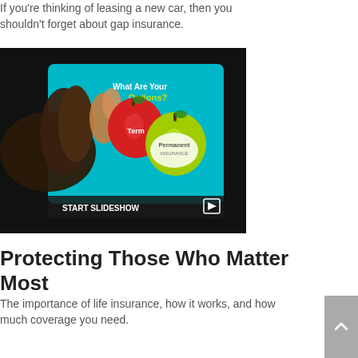If you're thinking of leasing a new car, then you shouldn't forget about gap insurance.
[Figure (screenshot): A hand touching a tablet screen displaying 'What Are Your Options?' with images of a red apple and a green apple labeled 'Permanent Insurance'. At the bottom is a 'START SLIDESHOW' button and a play icon.]
Protecting Those Who Matter Most
The importance of life insurance, how it works, and how much coverage you need.